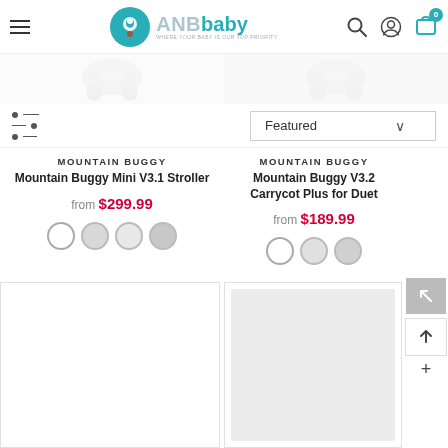[Figure (screenshot): ANBbaby e-commerce website header with logo, search icon, account icon, and shopping cart icon showing 0 items]
[Figure (screenshot): Filter icon on left and Featured sort dropdown on right]
MOUNTAIN BUGGY
Mountain Buggy Mini V3.1 Stroller
from $299.99
MOUNTAIN BUGGY
Mountain Buggy V3.2 Carrycot Plus for Duet
from $189.99
[Figure (photo): Empty white product card placeholder bottom left]
[Figure (photo): Light gray product image placeholder bottom right]